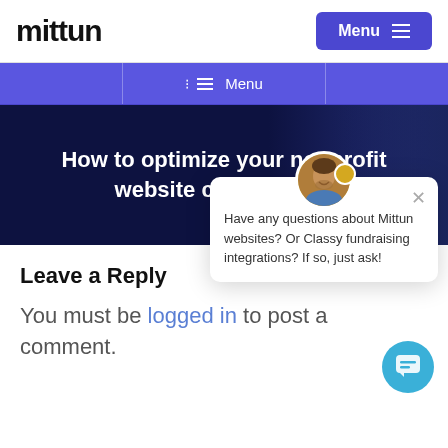mittun
Menu
≡ Menu
How to optimize your nonprofit website content SEO
Leave a Reply
You must be logged in to post a comment.
Have any questions about Mittun websites? Or Classy fundraising integrations? If so, just ask!